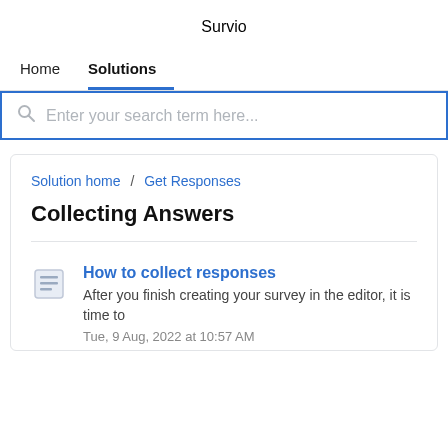Survio
Home   Solutions
Enter your search term here...
Solution home / Get Responses
Collecting Answers
How to collect responses
After you finish creating your survey in the editor, it is time to
Tue, 9 Aug, 2022 at 10:57 AM